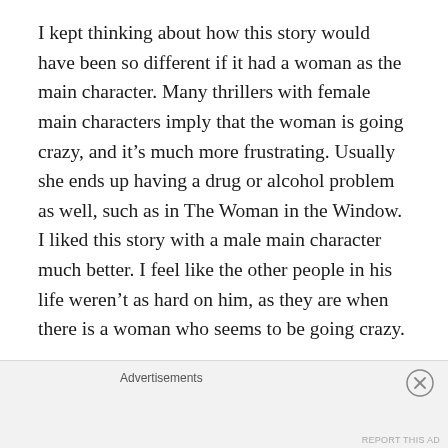I kept thinking about how this story would have been so different if it had a woman as the main character. Many thrillers with female main characters imply that the woman is going crazy, and it's much more frustrating. Usually she ends up having a drug or alcohol problem as well, such as in The Woman in the Window. I liked this story with a male main character much better. I feel like the other people in his life weren't as hard on him, as they are when there is a woman who seems to be going crazy.
I loved the twists at the end. It all made sense,
Advertisements